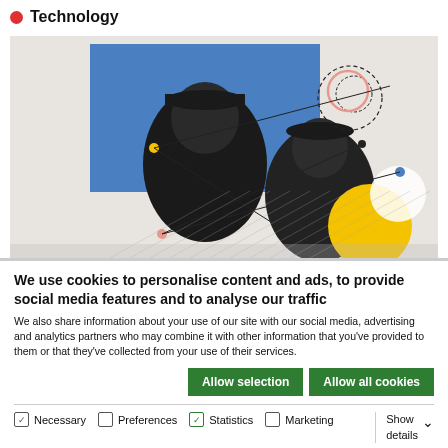Technology
[Figure (photo): Two young men wearing caps and hoodies against a beige background with geometric graphic overlays including a blue rectangle, colored dots, dashed circles, and diagonal lines.]
We use cookies to personalise content and ads, to provide social media features and to analyse our traffic
We also share information about your use of our site with our social media, advertising and analytics partners who may combine it with other information that you've provided to them or that they've collected from your use of their services.
Allow selection
Allow all cookies
Necessary  Preferences  Statistics  Marketing  Show details